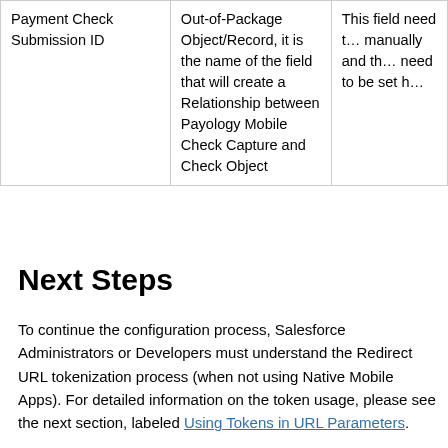| Payment Check Submission ID | Out-of-Package Object/Record, it is the name of the field that will create a Relationship between Payology Mobile Check Capture and Check Object | This field need to be set manually and the need to be set h |
Next Steps
To continue the configuration process, Salesforce Administrators or Developers must understand the Redirect URL tokenization process (when not using Native Mobile Apps). For detailed information on the token usage, please see the next section, labeled Using Tokens in URL Parameters.